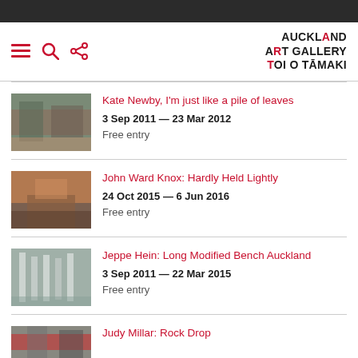Auckland Art Gallery Toi o Tāmaki
Kate Newby, I'm just like a pile of leaves | 3 Sep 2011 — 23 Mar 2012 | Free entry
John Ward Knox: Hardly Held Lightly | 24 Oct 2015 — 6 Jun 2016 | Free entry
Jeppe Hein: Long Modified Bench Auckland | 3 Sep 2011 — 22 Mar 2015 | Free entry
Judy Millar: Rock Drop